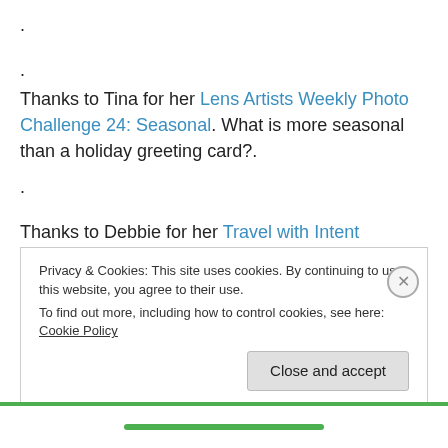.
.
Thanks to Tina for her Lens Artists Weekly Photo Challenge 24: Seasonal. What is more seasonal than a holiday greeting card?.
.
Thanks to Debbie for her Travel with Intent Challenge – One Word Sunday: Christmas Time. Even the Heron gets in the holiday spirit.
Privacy & Cookies: This site uses cookies. By continuing to use this website, you agree to their use. To find out more, including how to control cookies, see here: Cookie Policy
Close and accept